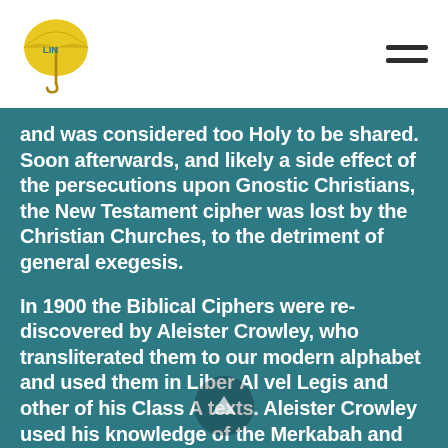Logo and navigation header
and was considered too Holy to be shared. Soon afterwards, and likely a side effect of the persecutions upon Gnostic Christians, the New Testament cipher was lost by the Christian Churches, to the detriment of general exegesis.
In 1900 the Biblical Ciphers were re-discovered by Aleister Crowley, who transliterated them to our modern alphabet and used them in Liber Al vel Legis and other of his Class A texts. Aleister Crowley used his knowledge of the Merkabah and the biblical ciphers as the architecture behind the Qabalah of Thelema.